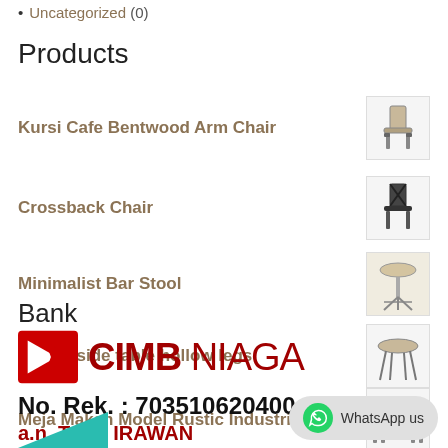Uncategorized (0)
Products
Kursi Cafe Bentwood Arm Chair
Crossback Chair
Minimalist Bar Stool
Round side table hollow legs
Meja Makan Model Rustic Industrial
Bank
[Figure (logo): CIMB Niaga bank logo with red arrow icon and bold red text CIMB NIAGA]
No. Rek. : 703510620400
a.n. TOMI IRAWAN
WhatsApp us